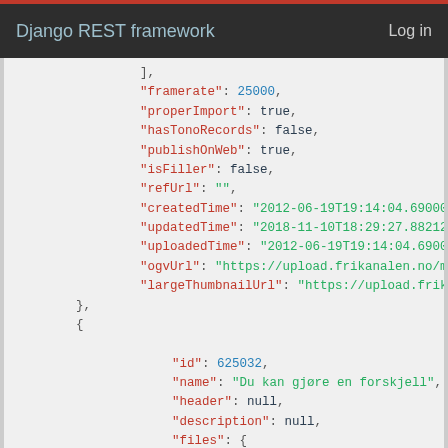Django REST framework  Log in
],
"framerate": 25000,
"properImport": true,
"hasTonoRecords": false,
"publishOnWeb": true,
"isFiller": false,
"refUrl": "",
"createdTime": "2012-06-19T19:14:04.690000Z",
"updatedTime": "2018-11-10T18:29:27.882125Z",
"uploadedTime": "2012-06-19T19:14:04.690000Z",
"ogvUrl": "https://upload.frikanalen.no/media...",
"largeThumbnailUrl": "https://upload.frikanal..."
},
{
"id": 625032,
"name": "Du kan gjøre en forskjell",
"header": null,
"description": null,
"files": {
"theora": "https://upload.frikanalen.no/m...",
"smallThumb": "https://upload.frikanalen....",
"medThumb": "https://upload.frikanalen.no...",
"broadcast": "https://upload.frikanalen...."